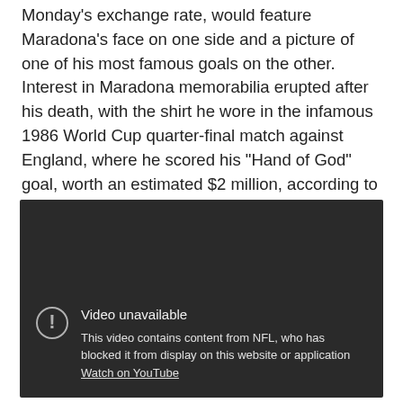Monday's exchange rate, would feature Maradona's face on one side and a picture of one of his most famous goals on the other. Interest in Maradona memorabilia erupted after his death, with the shirt he wore in the infamous 1986 World Cup quarter-final match against England, where he scored his “Hand of God” goal, worth an estimated $2 million, according to an American expert.
[Figure (screenshot): Embedded video player showing 'Video unavailable' message. The video contains content from NFL, who has blocked it from display on this website or application. A 'Watch on YouTube' link is shown.]